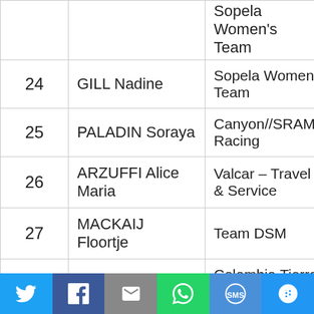| # | Name | Team | Time |
| --- | --- | --- | --- |
| 24 | GILL Nadine | Sopela Women's Team | 0:35 |
| 25 | PALADIN Soraya | Canyon//SRAM Racing | 0:35 |
| 26 | ARZUFFI Alice Maria | Valcar – Travel & Service | 0:35 |
| 27 | MACKAIJ Floortje | Team DSM | 0:35 |
| 28 | DUCUARA Jennifer | Colombia Tierra de Atletas – GW – Shimano | 0:35 |
[Figure (other): Social sharing bar with Twitter, Facebook, Email, WhatsApp, SMS, and More buttons]